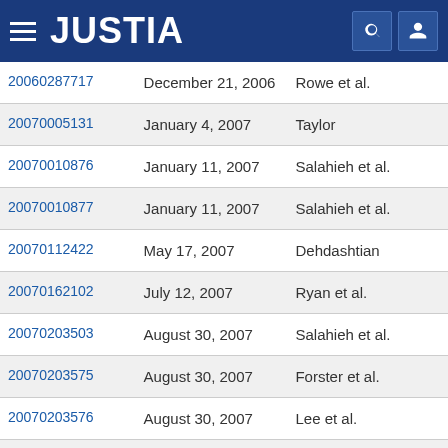JUSTIA
| Application No. | Date | Inventor(s) |
| --- | --- | --- |
| 20060287717 | December 21, 2006 | Rowe et al. |
| 20070005131 | January 4, 2007 | Taylor |
| 20070010876 | January 11, 2007 | Salahieh et al. |
| 20070010877 | January 11, 2007 | Salahieh et al. |
| 20070112422 | May 17, 2007 | Dehdashtian |
| 20070162102 | July 12, 2007 | Ryan et al. |
| 20070203503 | August 30, 2007 | Salahieh et al. |
| 20070203575 | August 30, 2007 | Forster et al. |
| 20070203576 | August 30, 2007 | Lee et al. |
| 20070208550 | September 6, 2007 | Cao et al. |
| 20070213813 | September 13, | Von Segesser et al. |